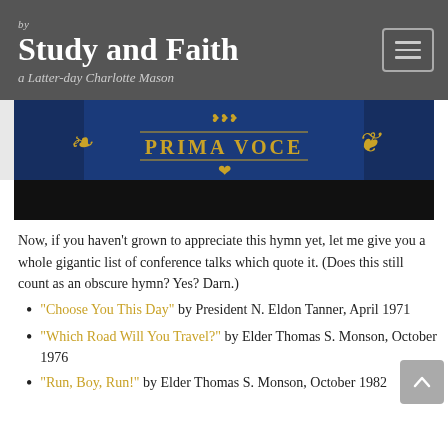by Study and Faith — a Latter-day Charlotte Mason
[Figure (other): Book cover image showing 'PRIMA VOCE' text in gold on a blue background with decorative elements, partially cropped with a black bar at the bottom.]
Now, if you haven't grown to appreciate this hymn yet, let me give you a whole gigantic list of conference talks which quote it. (Does this still count as an obscure hymn? Yes? Darn.)
"Choose You This Day" by President N. Eldon Tanner, April 1971
"Which Road Will You Travel?" by Elder Thomas S. Monson, October 1976
"Run, Boy, Run!" by Elder Thomas S. Monson, October 1982